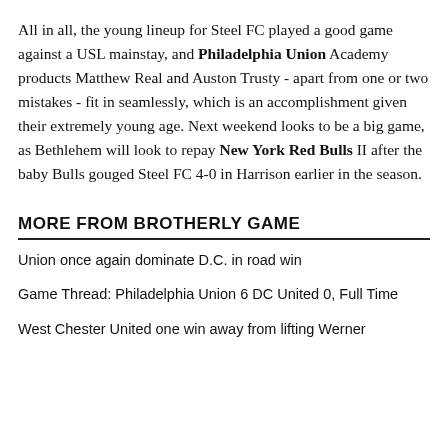All in all, the young lineup for Steel FC played a good game against a USL mainstay, and Philadelphia Union Academy products Matthew Real and Auston Trusty - apart from one or two mistakes - fit in seamlessly, which is an accomplishment given their extremely young age. Next weekend looks to be a big game, as Bethlehem will look to repay New York Red Bulls II after the baby Bulls gouged Steel FC 4-0 in Harrison earlier in the season.
MORE FROM BROTHERLY GAME
Union once again dominate D.C. in road win
Game Thread: Philadelphia Union 6 DC United 0, Full Time
West Chester United one win away from lifting Werner